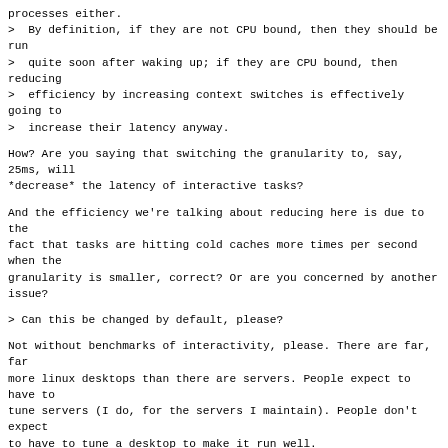processes either.
>  By definition, if they are not CPU bound, then they should be run
>  quite soon after waking up; if they are CPU bound, then reducing
>  efficiency by increasing context switches is effectively going to
>  increase their latency anyway.
How? Are you saying that switching the granularity to, say, 25ms, will
*decrease* the latency of interactive tasks?
And the efficiency we're talking about reducing here is due to the
fact that tasks are hitting cold caches more times per second when the
granularity is smaller, correct? Or are you concerned by another
issue?
> Can this be changed by default, please?
Not without benchmarks of interactivity, please. There are far, far
more linux desktops than there are servers. People expect to have to
tune servers (I do, for the servers I maintain). People don't expect
to have to tune a desktop to make it run well.